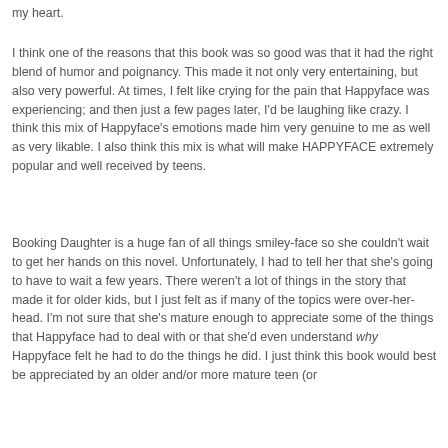my heart.
I think one of the reasons that this book was so good was that it had the right blend of humor and poignancy. This made it not only very entertaining, but also very powerful. At times, I felt like crying for the pain that Happyface was experiencing; and then just a few pages later, I'd be laughing like crazy. I think this mix of Happyface's emotions made him very genuine to me as well as very likable. I also think this mix is what will make HAPPYFACE extremely popular and well received by teens.
Booking Daughter is a huge fan of all things smiley-face so she couldn't wait to get her hands on this novel. Unfortunately, I had to tell her that she's going to have to wait a few years. There weren't a lot of things in the story that made it for older kids, but I just felt as if many of the topics were over-her-head. I'm not sure that she's mature enough to appreciate some of the things that Happyface had to deal with or that she'd even understand why Happyface felt he had to do the things he did. I just think this book would best be appreciated by an older and/or more mature teen (or